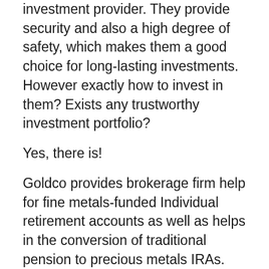investment provider. They provide security and also a high degree of safety, which makes them a good choice for long-lasting investments. However exactly how to invest in them? Exists any trustworthy investment portfolio?
Yes, there is!
Goldco provides brokerage firm help for fine metals-funded Individual retirement accounts as well as helps in the conversion of traditional pension to precious metals IRAs. Customers can additionally offer the steels on the steels market or buy them when they start to withdraw funds from their individual retirement account.
As Goldco puts it, the charge...What are the results...